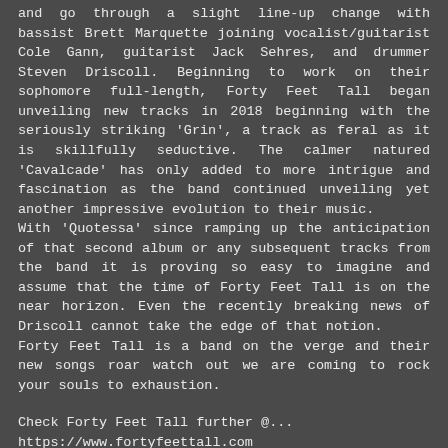and go through a slight line-up change with bassist Brett Marquette joining vocalist/guitarist Cole Gann, guitarist Jack Sehres, and drummer Steven Driscoll. Beginning to work on their sophomore full-length, Forty Feet Tall began unveiling new tracks in 2018 beginning with the seriously striking 'Grin', a track as feral as it is skillfully seductive. The calmer natured 'Cavalcade' has only added to more intrigue and fascination as the band continued unveiling yet another impressive evolution to their music.
With 'Quotessa' since ramping up the anticipation of that second album or any subsequent tracks from the band it is proving so easy to imagine and assume that the time of Forty Feet Tall is on the near horizon. Even the recently breaking news of Driscoll cannot take the edge of that notion.
Forty Feet Tall is a band on the verge and their new songs roar watch out we are coming to rock your souls to exhaustion.
Check Forty Feet Tall further @...
https://www.fortyfeettall.com
https://www.facebook.com/FortyFeetTall/
https://fortyfeettall.bandcamp.com/